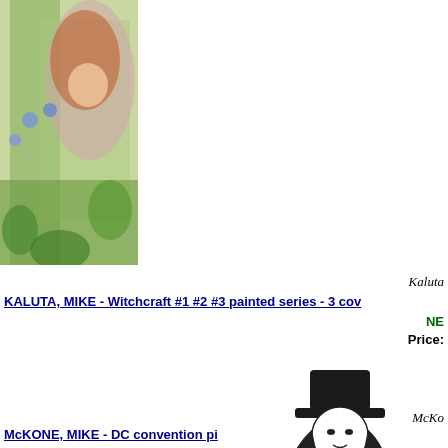[Figure (illustration): Colorful painted comic book cover art featuring a woman with red hair surrounded by green foliage and creatures, partially cropped on the right side of the page.]
Kaluta
KALUTA, MIKE - Witchcraft #1 #2 #3 painted series - 3 cov
NE
Price:
[Figure (illustration): Black and white ink drawing of a woman wearing a top hat and corset, with long flowing hair, in a comic book style.]
McKo
McKONE, MIKE - DC convention pi
Price: